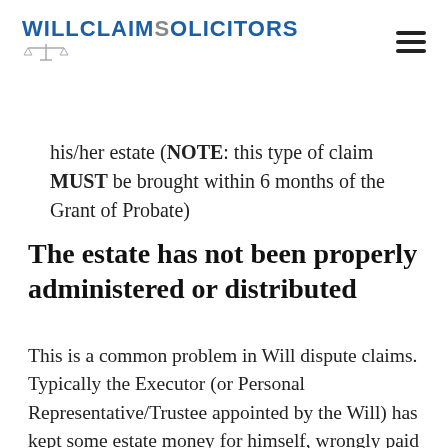WillclaimSolicitors
his/her estate (NOTE: this type of claim MUST be brought within 6 months of the Grant of Probate)
The estate has not been properly administered or distributed
This is a common problem in Will dispute claims. Typically the Executor (or Personal Representative/Trustee appointed by the Will) has kept some estate money for himself, wrongly paid out estate money to a beneficiary, failed to pay out estate money